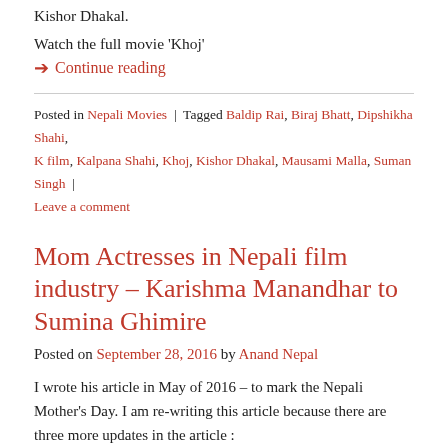Kishor Dhakal.
Watch the full movie 'Khoj'
➔ Continue reading
Posted in Nepali Movies | Tagged Baldip Rai, Biraj Bhatt, Dipshikha Shahi, K film, Kalpana Shahi, Khoj, Kishor Dhakal, Mausami Malla, Suman Singh | Leave a comment
Mom Actresses in Nepali film industry – Karishma Manandhar to Sumina Ghimire
Posted on September 28, 2016 by Anand Nepal
I wrote his article in May of 2016 – to mark the Nepali Mother's Day. I am re-writing this article because there are three more updates in the article :
Sumina Ghimire gave birth to her daughter in December 25, 2015. Sumina Ghimire had gone into hiding after marrying, so it took me nine months to